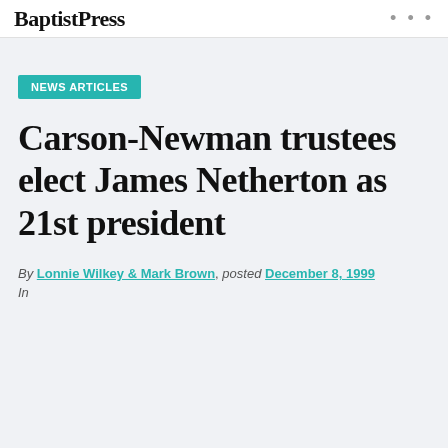BaptistPress
NEWS ARTICLES
Carson-Newman trustees elect James Netherton as 21st president
By Lonnie Wilkey & Mark Brown, posted December 8, 1999
In